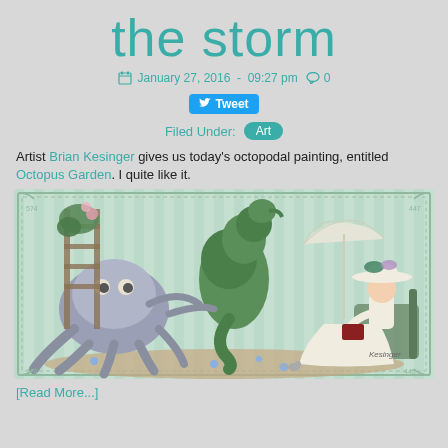the storm
January 27, 2016  -  09:27 pm  0
Tweet
Filed Under:  Art
Artist Brian Kesinger gives us today's octopodal painting, entitled Octopus Garden. I quite like it.
[Figure (illustration): Illustration titled 'Octopus Garden' by Brian Kesinger showing a large octopus tending a garden with a seahorse topiary and an elegant woman in a wide-brimmed hat sitting in a chair reading a book, all in a decorative border with a mint-green background.]
[Read More...]